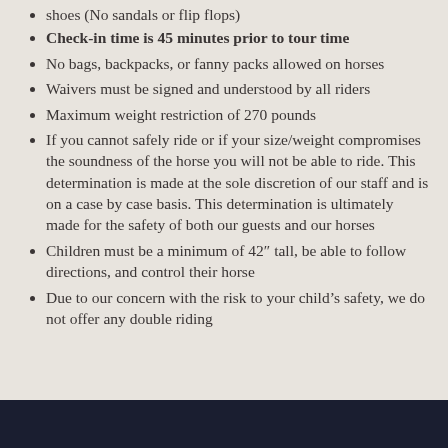shoes (No sandals or flip flops)
Check-in time is 45 minutes prior to tour time
No bags, backpacks, or fanny packs allowed on horses
Waivers must be signed and understood by all riders
Maximum weight restriction of 270 pounds
If you cannot safely ride or if your size/weight compromises the soundness of the horse you will not be able to ride. This determination is made at the sole discretion of our staff and is on a case by case basis. This determination is ultimately made for the safety of both our guests and our horses
Children must be a minimum of 42″ tall, be able to follow directions, and control their horse
Due to our concern with the risk to your child’s safety, we do not offer any double riding
[Figure (other): Dark navy/black bar at bottom of page]